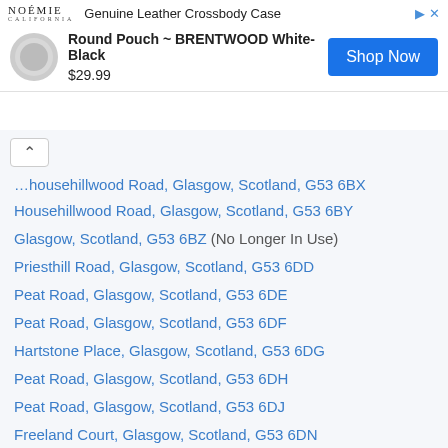[Figure (screenshot): Advertisement banner for NOÉMIE California - Genuine Leather Crossbody Case. Shows Round Pouch ~ BRENTWOOD White-Black product image, price $29.99, and a blue 'Shop Now' button.]
Househillwood Road, Glasgow, Scotland, G53 6BX
Househillwood Road, Glasgow, Scotland, G53 6BY
Glasgow, Scotland, G53 6BZ (No Longer In Use)
Priesthill Road, Glasgow, Scotland, G53 6DD
Peat Road, Glasgow, Scotland, G53 6DE
Peat Road, Glasgow, Scotland, G53 6DF
Hartstone Place, Glasgow, Scotland, G53 6DG
Peat Road, Glasgow, Scotland, G53 6DH
Peat Road, Glasgow, Scotland, G53 6DJ
Freeland Court, Glasgow, Scotland, G53 6DN
Hartstone Terrace, Glasgow, Scotland, G53 6DQ
Glasgow, Scotland, G53 6DR (No Longer In Use)